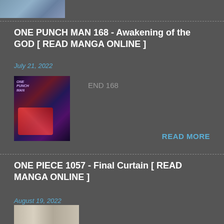[Figure (illustration): Partial manga thumbnail image at top of page, cropped]
ONE PUNCH MAN 168 - Awakening of the GOD [ READ MANGA ONLINE ]
July 21, 2022
[Figure (illustration): One Punch Man manga cover thumbnail with colorful cosmic background, text overlay reading ONE PUNCH MAN, white spine strip on right]
END 168
READ MORE
ONE PIECE 1057 - Final Curtain [ READ MANGA ONLINE ]
August 19, 2022
[Figure (illustration): One Piece manga thumbnail partially visible at bottom of page]